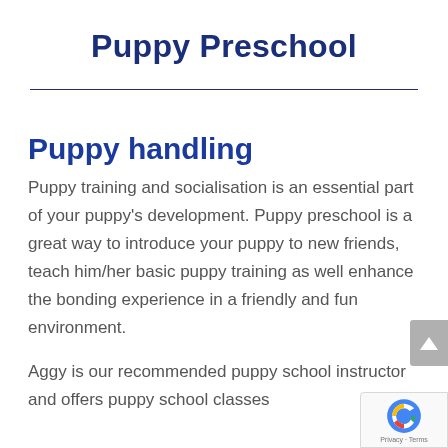Puppy Preschool
Puppy handling
Puppy training and socialisation is an essential part of your puppy's development. Puppy preschool is a great way to introduce your puppy to new friends, teach him/her basic puppy training as well enhance the bonding experience in a friendly and fun environment.
Aggy is our recommended puppy school instructor and offers puppy school classes